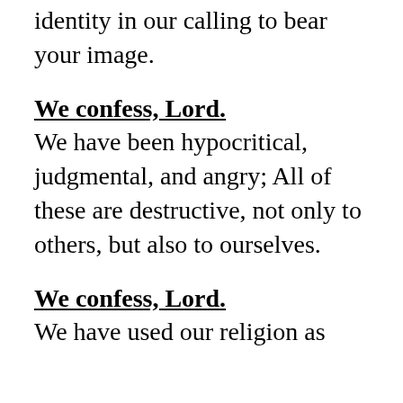identity in our calling to bear your image.
We confess, Lord.
We have been hypocritical, judgmental, and angry; All of these are destructive, not only to others, but also to ourselves.
We confess, Lord.
We have used our religion as